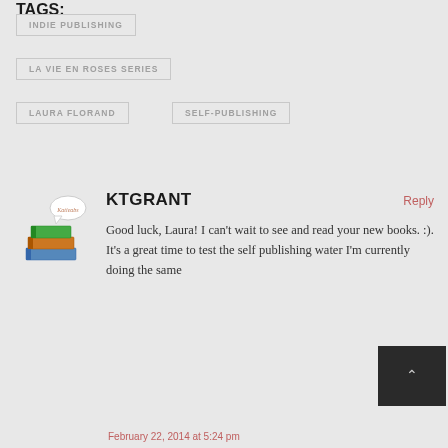INDIE PUBLISHING
LA VIE EN ROSES SERIES
LAURA FLORAND
SELF-PUBLISHING
[Figure (illustration): Avatar image showing a stack of colorful books (green, blue/teal, orange) with a cartoon speech bubble above containing the name 'Katieabs' in script font]
KTGRANT
Reply
Good luck, Laura! I can't wait to see and read your new books. :). It's a great time to test the self publishing water I'm currently doing the same
February 22, 2014 at 5:24 pm